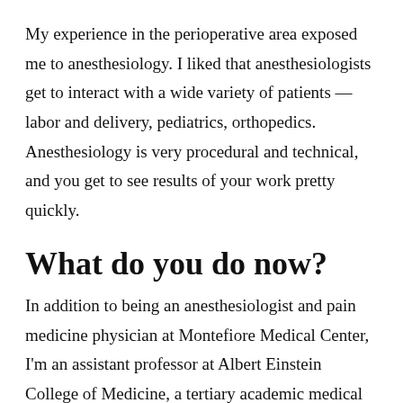My experience in the perioperative area exposed me to anesthesiology. I liked that anesthesiologists get to interact with a wide variety of patients — labor and delivery, pediatrics, orthopedics. Anesthesiology is very procedural and technical, and you get to see results of your work pretty quickly.
What do you do now?
In addition to being an anesthesiologist and pain medicine physician at Montefiore Medical Center, I'm an assistant professor at Albert Einstein College of Medicine, a tertiary academic medical